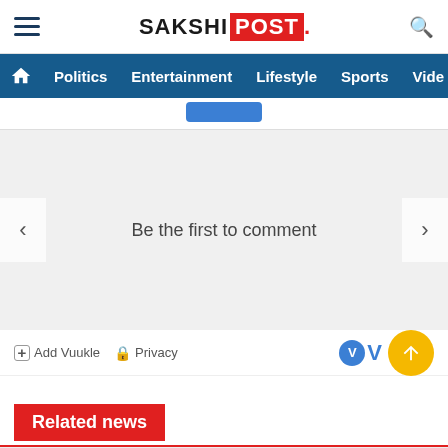SAKSHI POST
[Figure (screenshot): Navigation bar with Politics, Entertainment, Lifestyle, Sports, Vide links on dark blue background]
[Figure (screenshot): Comment section placeholder with left and right navigation arrows and blue button at top center]
Be the first to comment
Add Vuukle   Privacy
Related news